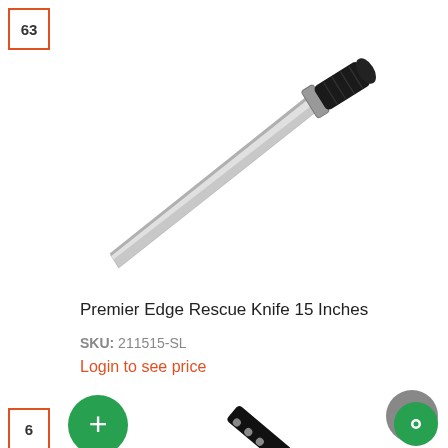63
[Figure (photo): A large bowie/rescue knife with a silver blade and black handle, shown diagonally on a white background]
Premier Edge Rescue Knife 15 Inches
SKU: 211515-SL
Login to see price
6
[Figure (photo): A black folding/utility knife partially visible at the bottom of the page]
[Figure (other): Green circular add (+) button]
[Figure (other): Grey circular scroll-to-top button with double chevron up icon]
[Figure (other): Green circular chat/support button]